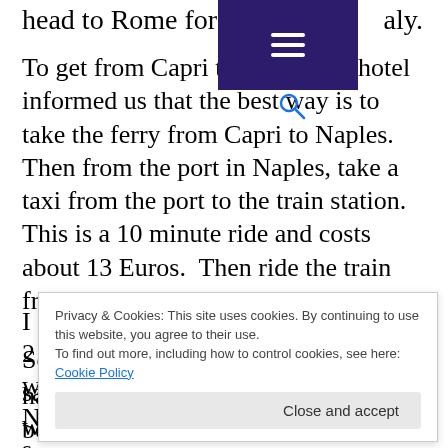head to Rome for our final stop in Italy.
To get from Capri to Rome, our hotel informed us that the best way is to take the ferry from Capri to Naples.  Then from the port in Naples, take a taxi from the port to the train station.  This is a 10 minute ride and costs about 13 Euros.  Then ride the train from Naples to Rome.
So, we did exactly what the hotel said.  The ferry from Capri to Naples was about 20 Euros per person.  The taxi to the train station was 13 Euros.
Privacy & Cookies: This site uses cookies. By continuing to use this website, you agree to their use.
To find out more, including how to control cookies, see here: Cookie Policy
have been significantly cheaper if we booked in